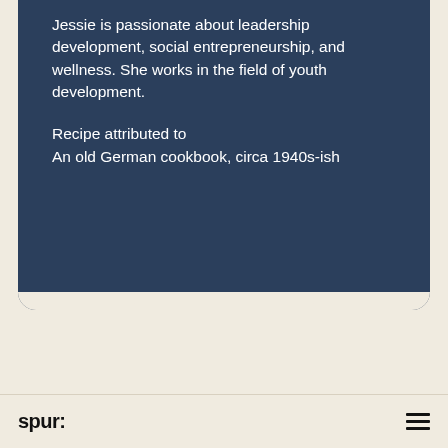Jessie is passionate about leadership development, social entrepreneurship, and wellness. She works in the field of youth development.
Recipe attributed to
An old German cookbook, circa 1940s-ish
spur: